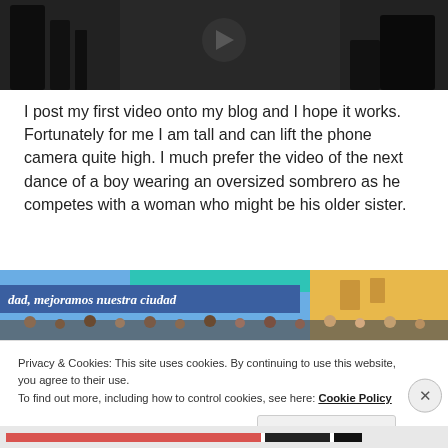[Figure (photo): Dark image showing silhouetted figures of people, appears to be a dance or street scene with dark background]
I post my first video onto my blog and I hope it works. Fortunately for me I am tall and can lift the phone camera quite high. I much prefer the video of the next dance of a boy wearing an oversized sombrero as he competes with a woman who might be his older sister.
[Figure (photo): Street scene showing a storefront with text 'dad, mejoramos nuestra ciudad' on a blue sign, yellow building, crowd of people]
Privacy & Cookies: This site uses cookies. By continuing to use this website, you agree to their use.
To find out more, including how to control cookies, see here: Cookie Policy
Close and accept